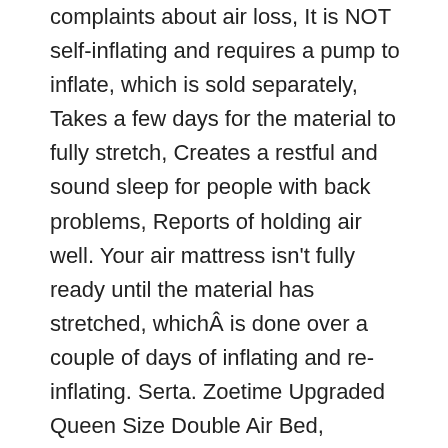complaints about air loss, It is NOT self-inflating and requires a pump to inflate, which is sold separately, Takes a few days for the material to fully stretch, Creates a restful and sound sleep for people with back problems, Reports of holding air well. Your air mattress isn't fully ready until the material has stretched, whichÂ is done over a couple of days of inflating and re-inflating. Serta. Zoetime Upgraded Queen Size Double Air Bed, Zoetime Upgraded Queen Size Double Air Bed provides m, Zoetime Upgraded Queen Size Double Air Bed isÂ. I'm new to the MondoKing brand but glad to see someone else has some success with them. There's a good reason why this air mattress has received a lot of purchases, the fact that it's good quality at a remarkable price.